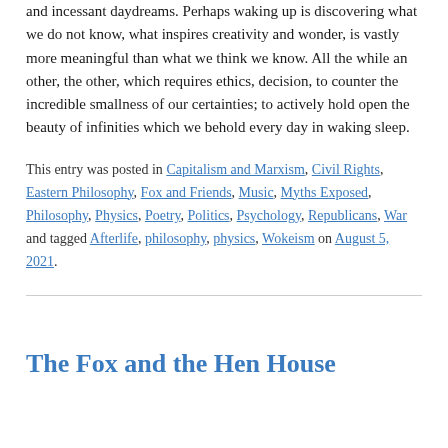and incessant daydreams. Perhaps waking up is discovering what we do not know, what inspires creativity and wonder, is vastly more meaningful than what we think we know. All the while an other, the other, which requires ethics, decision, to counter the incredible smallness of our certainties; to actively hold open the beauty of infinities which we behold every day in waking sleep.
This entry was posted in Capitalism and Marxism, Civil Rights, Eastern Philosophy, Fox and Friends, Music, Myths Exposed, Philosophy, Physics, Poetry, Politics, Psychology, Republicans, War and tagged Afterlife, philosophy, physics, Wokeism on August 5, 2021.
The Fox and the Hen House